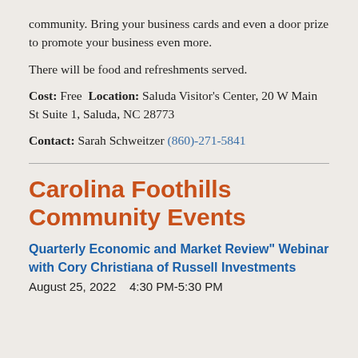community. Bring your business cards and even a door prize to promote your business even more.
There will be food and refreshments served.
Cost: Free Location: Saluda Visitor's Center, 20 W Main St Suite 1, Saluda, NC 28773
Contact: Sarah Schweitzer (860)-271-5841
Carolina Foothills Community Events
Quarterly Economic and Market Review" Webinar with Cory Christiana of Russell Investments
August 25, 2022   4:30 PM-5:30 PM